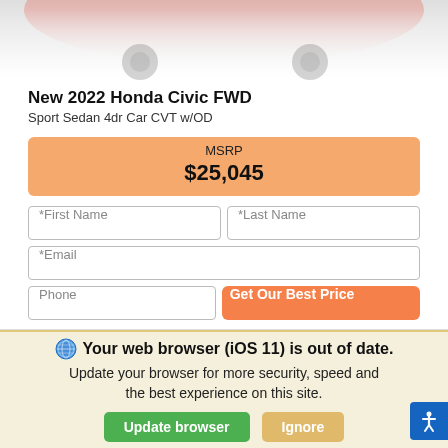[Figure (photo): Partial view of a red/orange Honda Civic car, showing the rear/side section fading into white background]
New 2022 Honda Civic FWD
Sport Sedan 4dr Car CVT w/OD
| MSRP | $25,045 |
*First Name   *Last Name   *Email   Phone   Get Our Best Price
Your web browser (iOS 11) is out of date. Update your browser for more security, speed and the best experience on this site.
Update browser   Ignore